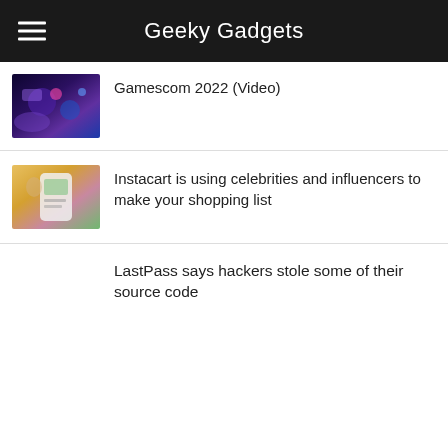Geeky Gadgets
Gamescom 2022 (Video)
Instacart is using celebrities and influencers to make your shopping list
LastPass says hackers stole some of their source code